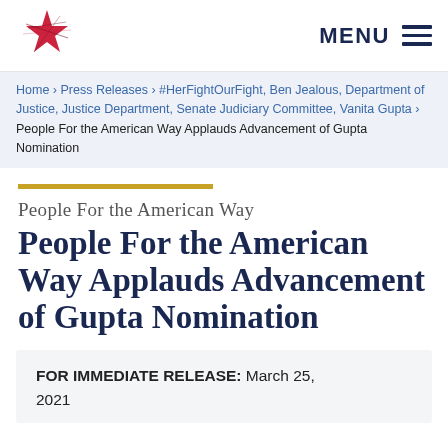[Figure (logo): People For the American Way star/logo mark in red and crimson]
MENU
Home › Press Releases › #HerFightOurFight, Ben Jealous, Department of Justice, Justice Department, Senate Judiciary Committee, Vanita Gupta › People For the American Way Applauds Advancement of Gupta Nomination
People For the American Way
People For the American Way Applauds Advancement of Gupta Nomination
FOR IMMEDIATE RELEASE: March 25, 2021